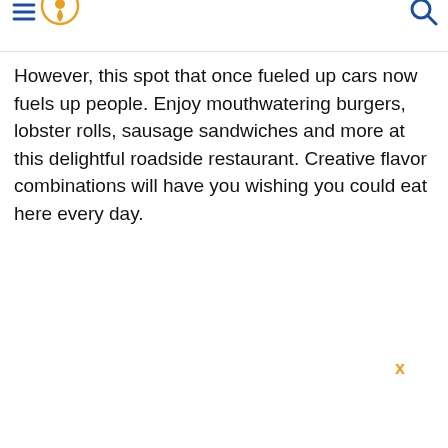[hamburger menu icon] [location pin icon] [search icon]
However, this spot that once fueled up cars now fuels up people. Enjoy mouthwatering burgers, lobster rolls, sausage sandwiches and more at this delightful roadside restaurant. Creative flavor combinations will have you wishing you could eat here every day.
x